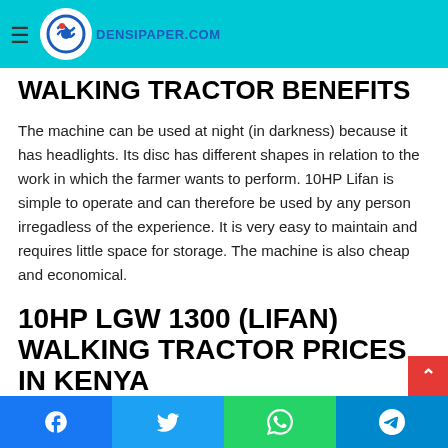DENSIPAPER.COM
WALKING TRACTOR BENEFITS
The machine can be used at night (in darkness) because it has headlights. Its disc has different shapes in relation to the work in which the farmer wants to perform. 10HP Lifan is simple to operate and can therefore be used by any person irregadless of the experience. It is very easy to maintain and requires little space for storage. The machine is also cheap and economical.
10HP LGW 1300 (LIFAN) WALKING TRACTOR PRICES IN KENYA